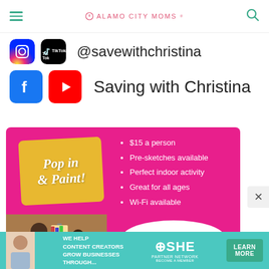Alamo City Moms
@savewithchristina
Saving with Christina
[Figure (infographic): Pop In & Paint promotional ad on magenta background. Left side shows a yellow badge with 'Pop in & Paint!' in italic script. Right side lists bullet points: $15 a person, Pre-sketches available, Perfect indoor activity, Great for all ages, Wi-Fi available. Bottom left shows a photo of a child painting. Bottom right shows a white blob shape with 'Tuesday - Friday 2PM to 5PM' in pink text.]
[Figure (infographic): SHE Partner Network banner ad with teal background. Text: 'WE HELP CONTENT CREATORS GROW BUSINESSES THROUGH...' SHE logo and 'PARTNER NETWORK BECOME A MEMBER' text. Green 'LEARN MORE' button on the right.]